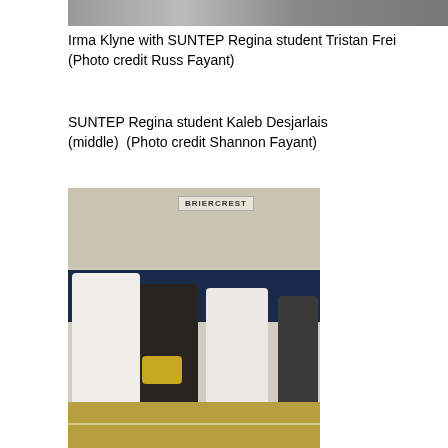[Figure (photo): Partial photo at top of page showing people, cropped, mostly cut off]
Irma Klyne with SUNTEP Regina student Tristan Frei (Photo credit Russ Fayant)
SUNTEP Regina student Kaleb Desjarlais (middle)  (Photo credit Shannon Fayant)
[Figure (photo): Three people standing in a gym in front of a dark blue banner reading 'ome of t' (Home of the...) with a Briercrest sign above. The middle person holds a trophy. A sign reading BRIERCREST is visible at top.]